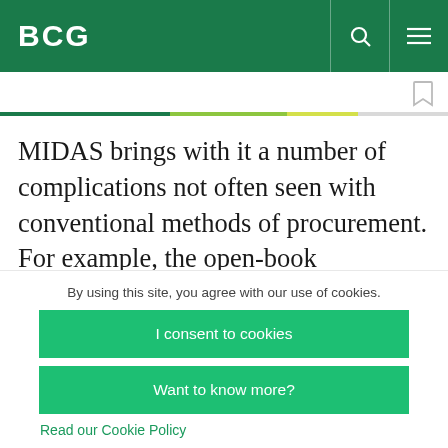BCG
MIDAS brings with it a number of complications not often seen with conventional methods of procurement. For example, the open-book transparency that MIDAS requires could appear to put probity at risk because numerous stakeholders
By using this site, you agree with our use of cookies.
I consent to cookies
Want to know more?
Read our Cookie Policy